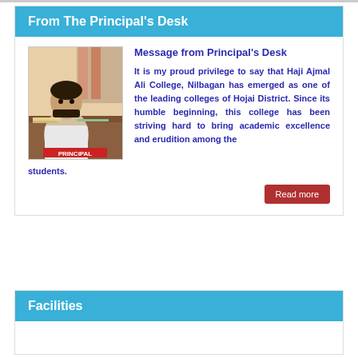From The Principal's Desk
[Figure (photo): Photo of the college principal sitting at a desk, labeled 'PRINCIPAL' at the bottom]
Message from Principal's Desk
It is my proud privilege to say that Haji Ajmal Ali College, Nilbagan has emerged as one of the leading colleges of Hojai District. Since its humble beginning, this college has been striving hard to bring academic excellence and erudition among the students.
Read more
Facilities